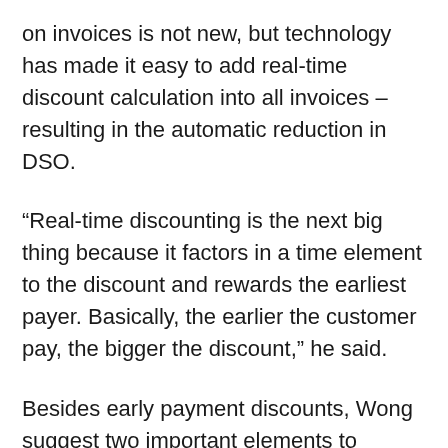on invoices is not new, but technology has made it easy to add real-time discount calculation into all invoices – resulting in the automatic reduction in DSO.
“Real-time discounting is the next big thing because it factors in a time element to the discount and rewards the earliest payer. Basically, the earlier the customer pay, the bigger the discount,” he said.
Besides early payment discounts, Wong suggest two important elements to incorporate.
“Your invoices must also allow online payments